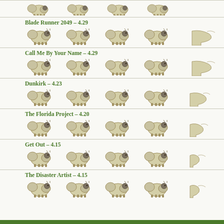[Figure (illustration): Partial sheep rating icons at top of page (cropped from previous entry)]
Blade Runner 2049 – 4.29
[Figure (illustration): 4.29 out of 5 sheep rating icons for Blade Runner 2049]
Call Me By Your Name – 4.29
[Figure (illustration): 4.29 out of 5 sheep rating icons for Call Me By Your Name]
Dunkirk – 4.23
[Figure (illustration): 4.23 out of 5 sheep rating icons for Dunkirk]
The Florida Project – 4.20
[Figure (illustration): 4.20 out of 5 sheep rating icons for The Florida Project]
Get Out – 4.15
[Figure (illustration): 4.15 out of 5 sheep rating icons for Get Out]
The Disaster Artist – 4.15
[Figure (illustration): 4.15 out of 5 sheep rating icons for The Disaster Artist]